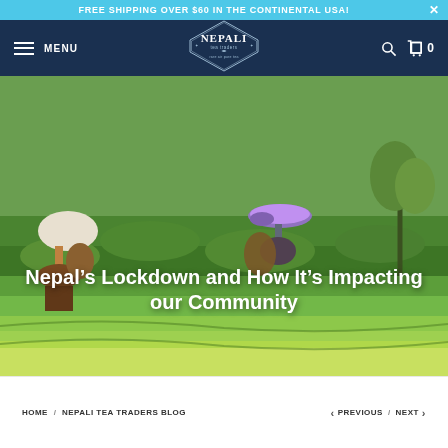Free Shipping Over $60 In The Continental USA!
[Figure (logo): Nepali Tea Traders logo — oval badge with 'NEPALI tea traders' text and leaf motif, tagline 'rare air pure tea']
[Figure (photo): Tea pickers in a lush green tea garden in Nepal. Two figures are visible carrying baskets and umbrellas (one white, one purple/white) while picking tea leaves among rows of green tea plants.]
Nepal’s Lockdown and How It’s Impacting our Community
HOME / NEPALI TEA TRADERS BLOG
< PREVIOUS / NEXT >